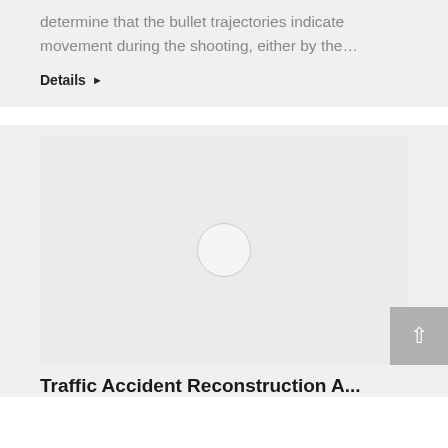determine that the bullet trajectories indicate movement during the shooting, either by the…
Details ▶
[Figure (photo): Image placeholder with a light gray background and a small circle in the center, indicating a loading or missing image]
Traffic Accident Reconstruction...